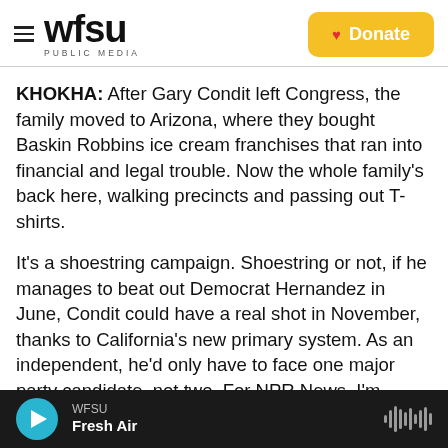WFSU PUBLIC MEDIA | Donate
KHOKHA: After Gary Condit left Congress, the family moved to Arizona, where they bought Baskin Robbins ice cream franchises that ran into financial and legal trouble. Now the whole family's back here, walking precincts and passing out T-shirts.
It's a shoestring campaign. Shoestring or not, if he manages to beat out Democrat Hernandez in June, Condit could have a real shot in November, thanks to California's new primary system. As an independent, he'd only have to face one major party candidate, not two. For NPR News, I'm Sasha Khokha in Modesto. Transcript provided by NPR
WFSU Fresh Air